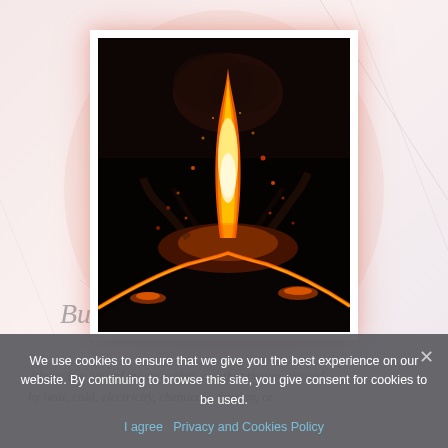[Figure (photo): Nighttime photograph of a volcanic eruption showing a bright orange-red lava fountain shooting upward from a volcano silhouette, with glowing lava flows visible along the volcanic slope against a dark sky.]
We use cookies to ensure that we give you the best experience on our website. By continuing to browse this site, you give consent for cookies to be used.
I agree   Privacy and Cookies Policy
Burns
A burn is a type of injury to skin, or other tissues, caused by heat, cold, electricity, chemicals, friction, or